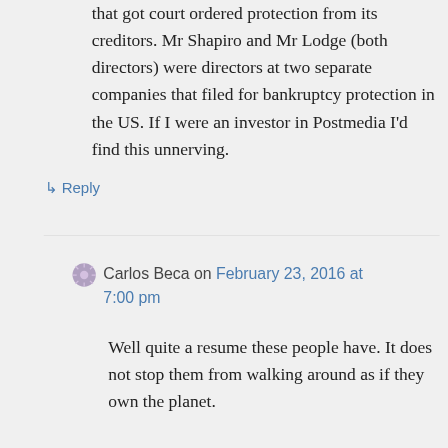that got court ordered protection from its creditors. Mr Shapiro and Mr Lodge (both directors) were directors at two separate companies that filed for bankruptcy protection in the US. If I were an investor in Postmedia I'd find this unnerving.
↳ Reply
Carlos Beca on February 23, 2016 at 7:00 pm
Well quite a resume these people have. It does not stop them from walking around as if they own the planet.